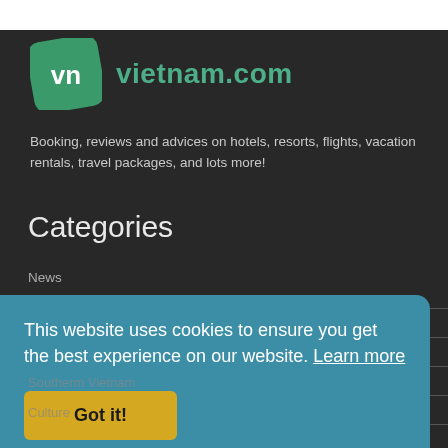[Figure (logo): vietnam.com logo with green diamond-shaped icon containing 'vn' text and green 'vietnam.com' wordmark]
Booking, reviews and advices on hotels, resorts, flights, vacation rentals, travel packages, and lots more!
Categories
News
This website uses cookies to ensure you get the best experience on our website. Learn more
Got it!
Southerm Vietnam
Culture